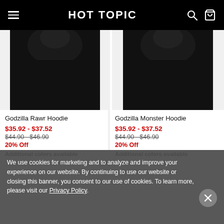HOT TOPIC
[Figure (screenshot): Hot Topic e-commerce product listing showing two Godzilla hoodies partially visible at top]
Godzilla Rawr Hoodie
$35.92 - $37.52
$44.90 - $46.90
20% Off
Additional colors available
Godzilla Monster Hoodie
$35.92 - $37.52
$44.90 - $46.90
20% Off
Additional colors available
We use cookies for marketing and to analyze and improve your experience on our website. By continuing to use our website or closing this banner, you consent to our use of cookies. To learn more, please visit our Privacy Policy.